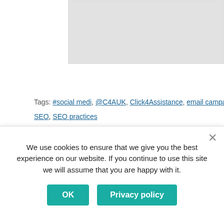[Figure (photo): Partially visible image with dotted/halftone background on the left and a dark brown element on the right edge]
Tags: #social medi, @C4AUK, Click4Assistance, email campaigns, email marketing, G... SEO, SEO practices
We use cookies to ensure that we give you the best experience on our website. If you continue to use this site we will assume that you are happy with it.